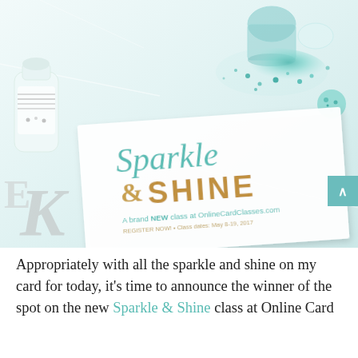[Figure (photo): Photograph of a white card with the text 'Sparkle & Shine - A brand NEW class at OnlineCardClasses.com. REGISTER NOW! Class dates: May 8-19, 2017', surrounded by teal/mint glitter spilled from a jar, a white bottle, silver letter decorations on a marble surface.]
Appropriately with all the sparkle and shine on my card for today, it's time to announce the winner of the spot on the new Sparkle & Shine class at Online Card Classes...